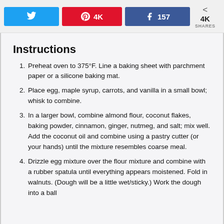Twitter share button, Pinterest 4K shares, Facebook 157 shares, 4K SHARES total
Instructions
Preheat oven to 375°F. Line a baking sheet with parchment paper or a silicone baking mat.
Place egg, maple syrup, carrots, and vanilla in a small bowl; whisk to combine.
In a larger bowl, combine almond flour, coconut flakes, baking powder, cinnamon, ginger, nutmeg, and salt; mix well. Add the coconut oil and combine using a pastry cutter (or your hands) until the mixture resembles coarse meal.
Drizzle egg mixture over the flour mixture and combine with a rubber spatula until everything appears moistened. Fold in walnuts. (Dough will be a little wet/sticky.) Work the dough into a ball